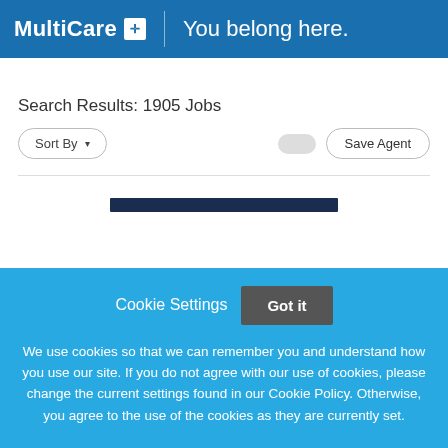MultiCare + | You belong here.
Search Results: 1905 Jobs
Sort By  [toggle]  Save Agent
[Figure (screenshot): Dark navy bar partially visible]
Cookie Settings   Got it

We use cookies so that we can remember you and understand how you use our site. If you do not agree with our use of cookies, please change the current settings found in our Cookie Policy. Otherwise, you agree to the use of the cookies as they are currently set.